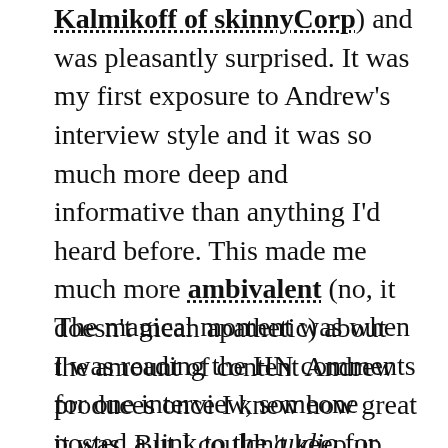Kalmikoff of skinnyCorp) and was pleasantly surprised. It was my first exposure to Andrew's interview style and it was so much more deep and informative than anything I'd heard before. This made me much more ambivalent (no, it doesn't mean apathetic) about the amount of content Andrew produces once I knew how great it was. But I couldn't keep up with it and didn't watch another video for almost 6 months.
The magical moment was when I was reading the HN comments for one interview, someone posted a link to the audio for the interview, and I eventually found that there's an iTunes-subscribable feed of the audio of all the interviews. This meant I could listen fast and have each interview dropped onto my iPod every day. Since then (around Christmas) I've listened to every interview and I realized